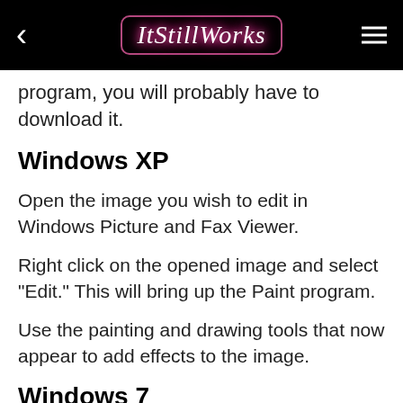ItStillWorks
program. If you want a real photo editing program, you will probably have to download it.
Windows XP
Open the image you wish to edit in Windows Picture and Fax Viewer.
Right click on the opened image and select "Edit." This will bring up the Paint program.
Use the painting and drawing tools that now appear to add effects to the image.
Windows 7
Open the image you wish to edit in Wind...